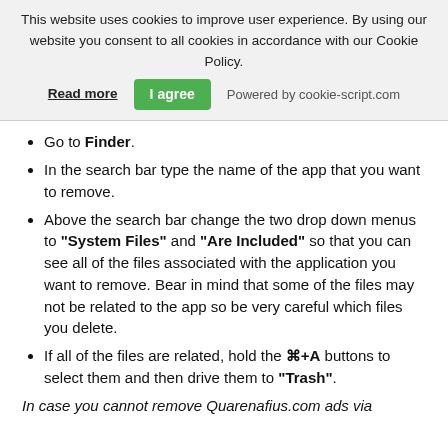This website uses cookies to improve user experience. By using our website you consent to all cookies in accordance with our Cookie Policy. Read more | I agree | Powered by cookie-script.com
Go to Finder.
In the search bar type the name of the app that you want to remove.
Above the search bar change the two drop down menus to "System Files" and "Are Included" so that you can see all of the files associated with the application you want to remove. Bear in mind that some of the files may not be related to the app so be very careful which files you delete.
If all of the files are related, hold the ⌘+A buttons to select them and then drive them to "Trash".
In case you cannot remove Quarenafius.com ads via